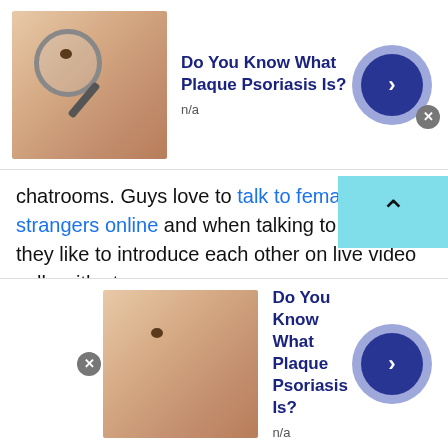[Figure (infographic): Top ad banner: skin/mole image with magnifying glass, 'Do You Know What Plaque Psoriasis Is?' title, n/a subtitle, blue arrow button]
chatrooms. Guys love to talk to female strangers online and when talking to strangers they like to introduce each other on live video calls with strangers.
When commuting bus or trains, we immerse ourselves in the mesmerizing world of social media when we are bored we burry ou ourselves in the non-stop entertainment if you are feeling lonely find a mate through the internet. As this new interface for communication has been introduced, researchers have been doing their part in finding out the benefits or
[Figure (infographic): Scroll-to-top button: cyan/teal background with upward chevron arrow]
[Figure (infographic): Bottom ad banner: skin/mole image, 'Do You Know What Plaque Psoriasis Is?' title, n/a subtitle, blue arrow button]